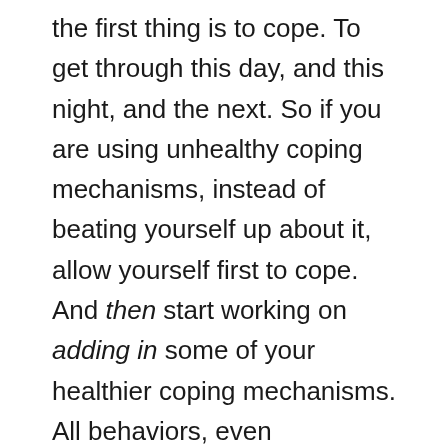the first thing is to cope. To get through this day, and this night, and the next. So if you are using unhealthy coping mechanisms, instead of beating yourself up about it, allow yourself first to cope. And then start working on adding in some of your healthier coping mechanisms. All behaviors, even dysfunctional ones, are adaptive in some context. Sometimes an unhealthy coping mechanism is healthier than not coping at all.
@Inked_Archivist
what matters most is